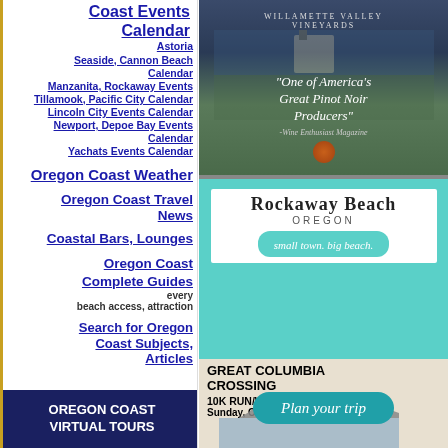Coast Events Calendar
Astoria
Seaside, Cannon Beach Calendar
Manzanita, Rockaway Events
Tillamook, Pacific City Calendar
Lincoln City Events Calendar
Newport, Depoe Bay Events Calendar
Yachats Events Calendar
Oregon Coast Weather
Oregon Coast Travel News
Coastal Bars, Lounges
Oregon Coast Complete Guides every beach access, attraction
Search for Oregon Coast Subjects, Articles
[Figure (photo): Willamette Valley Vineyards advertisement with vineyard photo and quote: 'One of America's Great Pinot Noir Producers' - Wine Enthusiast Magazine]
[Figure (photo): Rockaway Beach Oregon advertisement - small town. big beach.]
[Figure (photo): Plan your trip - Rockaway Beach Oregon coastal scenery with teal Plan your trip button]
[Figure (photo): Great Columbia Crossing 10K Run/Walk Sunday, Oct. 9 with bridge photo]
OREGON COAST VIRTUAL TOURS